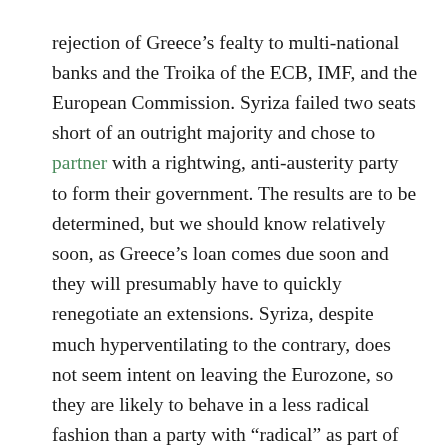rejection of Greece's fealty to multi-national banks and the Troika of the ECB, IMF, and the European Commission. Syriza failed two seats short of an outright majority and chose to partner with a rightwing, anti-austerity party to form their government. The results are to be determined, but we should know relatively soon, as Greece's loan comes due soon and they will presumably have to quickly renegotiate an extensions. Syriza, despite much hyperventilating to the contrary, does not seem intent on leaving the Eurozone, so they are likely to behave in a less radical fashion than a party with “radical” as part of their name might otherwise be expected to behave.
Taking a step back from the politics and the global economics of the situation, I want to flag